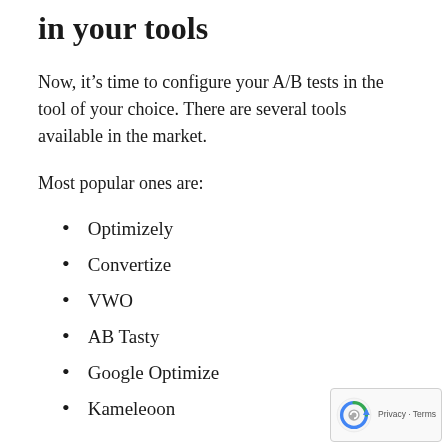in your tools
Now, it’s time to configure your A/B tests in the tool of your choice. There are several tools available in the market.
Most popular ones are:
Optimizely
Convertize
VWO
AB Tasty
Google Optimize
Kameleoon